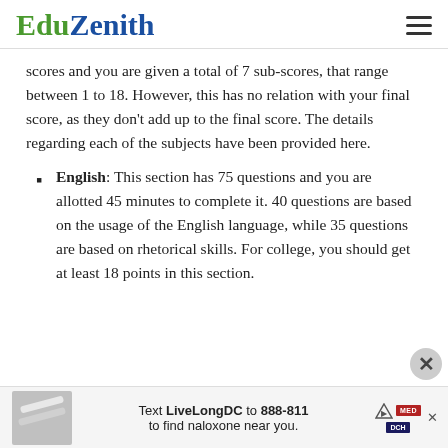EduZenith
scores and you are given a total of 7 sub-scores, that range between 1 to 18. However, this has no relation with your final score, as they don't add up to the final score. The details regarding each of the subjects have been provided here.
English: This section has 75 questions and you are allotted 45 minutes to complete it. 40 questions are based on the usage of the English language, while 35 questions are based on rhetorical skills. For college, you should get at least 18 points in this section.
[Figure (advertisement): Ad banner: Text LiveLongDC to 888-811 to find naloxone near you, with medical logos]